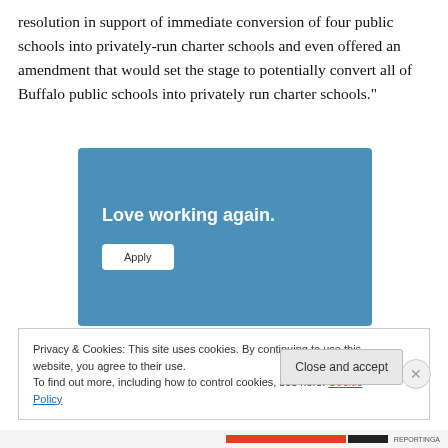resolution in support of immediate conversion of four public schools into privately-run charter schools and even offered an amendment that would set the stage to potentially convert all of Buffalo public schools into privately run charter schools."
[Figure (other): Advertisement banner with blue background showing text 'Love working again.' and an 'Apply' button]
Privacy & Cookies: This site uses cookies. By continuing to use this website, you agree to their use.
To find out more, including how to control cookies, see here: Cookie Policy
Close and accept